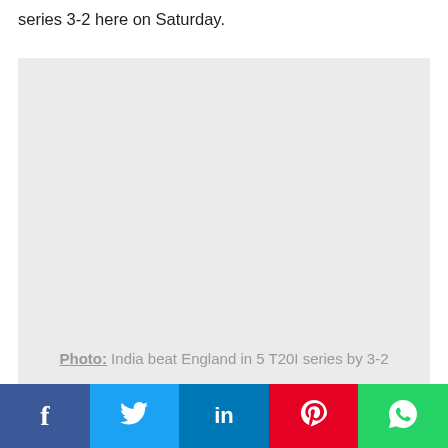series 3-2 here on Saturday.
[Figure (photo): Placeholder image for India beat England in 5 T20I series by 3-2]
Photo: India beat England in 5 T20I series by 3-2
Rohit Sharma, who smashed 64 off 34 balls (4x4s, 5x6s), was the other star for India while Dawid Malan's 46-ball
Facebook Twitter LinkedIn Pinterest WhatsApp share buttons